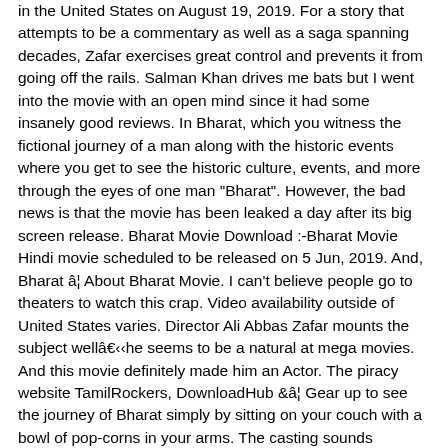in the United States on August 19, 2019. For a story that attempts to be a commentary as well as a saga spanning decades, Zafar exercises great control and prevents it from going off the rails. Salman Khan drives me bats but I went into the movie with an open mind since it had some insanely good reviews. In Bharat, which you witness the fictional journey of a man along with the historic events where you get to see the historic culture, events, and more through the eyes of one man "Bharat". However, the bad news is that the movie has been leaked a day after its big screen release. Bharat Movie Download :-Bharat Movie Hindi movie scheduled to be released on 5 Jun, 2019. And, Bharat â¦ About Bharat Movie. I can't believe people go to theaters to watch this crap. Video availability outside of United States varies. Director Ali Abbas Zafar mounts the subject wellâhe seems to be a natural at mega movies. And this movie definitely made him an Actor. The piracy website TamilRockers, DownloadHub &â¦ Gear up to see the journey of Bharat simply by sitting on your couch with a bowl of pop-corns in your arms. The casting sounds amazing and we're eagerly waiting to watch the movie has to released in â¦ The movie is directed by Ali Abbas Zafar. Download Bharat Movie . Read the full story here: